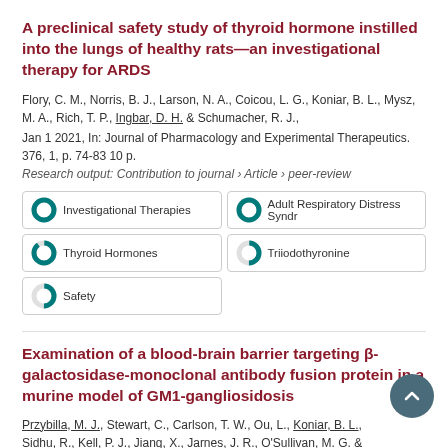A preclinical safety study of thyroid hormone instilled into the lungs of healthy rats—an investigational therapy for ARDS
Flory, C. M., Norris, B. J., Larson, N. A., Coicou, L. G., Koniar, B. L., Mysz, M. A., Rich, T. P., Ingbar, D. H. & Schumacher, R. J., Jan 1 2021, In: Journal of Pharmacology and Experimental Therapeutics. 376, 1, p. 74-83 10 p.
Research output: Contribution to journal › Article › peer-review
Investigational Therapies
Adult Respiratory Distress Syndrome
Thyroid Hormones
Triiodothyronine
Safety
Examination of a blood-brain barrier targeting β-galactosidase-monoclonal antibody fusion protein in a murine model of GM1-gangliosidosis
Przybilla, M. J., Stewart, C., Carlson, T. W., Ou, L., Koniar, B. L., Sidhu, R., Kell, P. J., Jiang, X., Jarnes, J. R., O'Sullivan, M. G. &